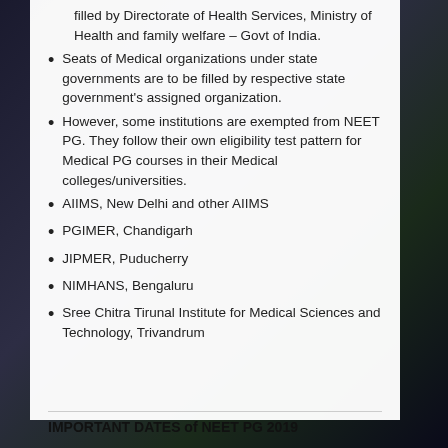filled by Directorate of Health Services, Ministry of Health and family welfare – Govt of India.
Seats of Medical organizations under state governments are to be filled by respective state government's assigned organization.
However, some institutions are exempted from NEET PG. They follow their own eligibility test pattern for Medical PG courses in their Medical colleges/universities.
AIIMS, New Delhi and other AIIMS
PGIMER, Chandigarh
JIPMER, Puducherry
NIMHANS, Bengaluru
Sree Chitra Tirunal Institute for Medical Sciences and Technology, Trivandrum
IMPORTANT DATES of NEET PG 2019